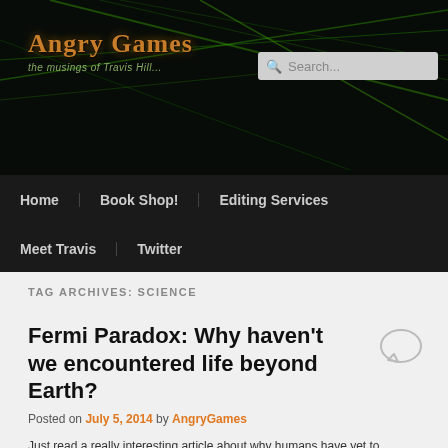Angry Games — the musings of Travis Hill...
TAG ARCHIVES: SCIENCE
Fermi Paradox: Why haven't we encountered life beyond Earth?
Posted on July 5, 2014 by AngryGames
Just read a really interesting article about why humans have yet to encounter any life beyond our home planet: